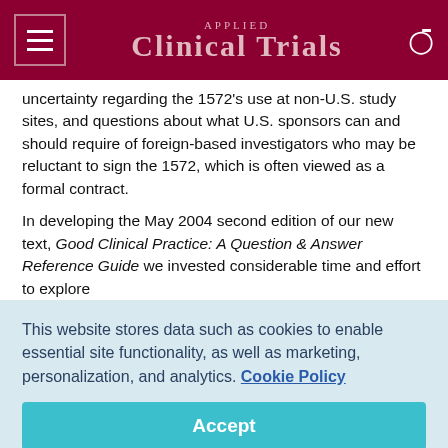Applied Clinical Trials
uncertainty regarding the 1572's use at non-U.S. study sites, and questions about what U.S. sponsors can and should require of foreign-based investigators who may be reluctant to sign the 1572, which is often viewed as a formal contract.

In developing the May 2004 second edition of our new text, Good Clinical Practice: A Question & Answer Reference Guide we invested considerable time and effort to explore
This website stores data such as cookies to enable essential site functionality, as well as marketing, personalization, and analytics. Cookie Policy
Accept
Deny